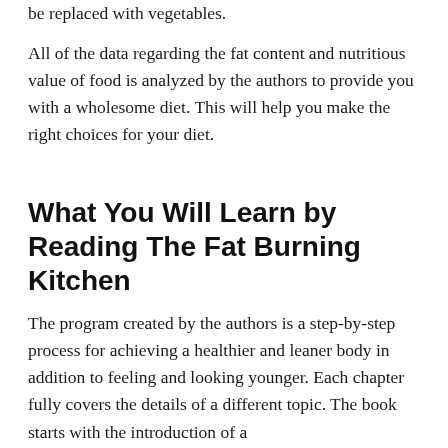be replaced with vegetables.
All of the data regarding the fat content and nutritious value of food is analyzed by the authors to provide you with a wholesome diet. This will help you make the right choices for your diet.
What You Will Learn by Reading The Fat Burning Kitchen
The program created by the authors is a step-by-step process for achieving a healthier and leaner body in addition to feeling and looking younger. Each chapter fully covers the details of a different topic. The book starts with the introduction of a